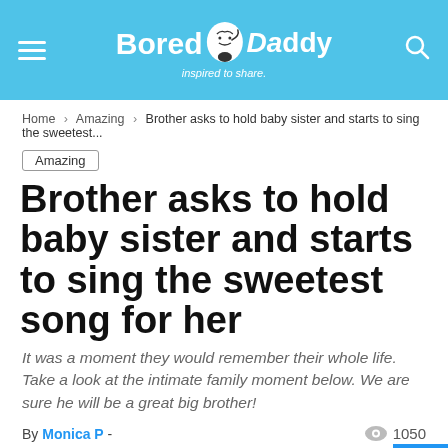Bored Daddy - inspired to share.
Home > Amazing > Brother asks to hold baby sister and starts to sing the sweetest...
Amazing
Brother asks to hold baby sister and starts to sing the sweetest song for her
It was a moment they would remember their whole life. Take a look at the intimate family moment below. We are sure he will be a great big brother!
By Monica P - 1050
584  584 SHARES